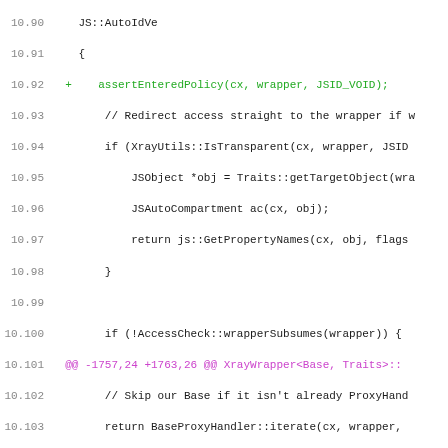[Figure (screenshot): Source code diff view showing C++ code for XrayWrapper class methods, with line numbers 10.90-10.122, green additions marked with '+', and a magenta diff header line at 10.101.]